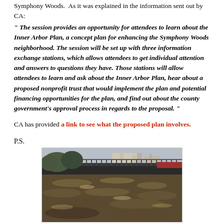Symphony Woods.  As it was explained in the information sent out by CA:
" The session provides an opportunity for attendees to learn about the Inner Arbor Plan, a concept plan for enhancing the Symphony Woods neighborhood. The session will be set up with three information exchange stations, which allows attendees to get individual attention and answers to questions they have. Those stations will allow attendees to learn and ask about the Inner Arbor Plan, hear about a proposed nonprofit trust that would implement the plan and potential financing opportunities for the plan, and find out about the county government's approval process in regards to the proposal. "
CA has provided a link to see what the proposed plan involves.
P.S.
[Figure (photo): Outdoor photo showing a flooded or rushing river/stream with a bridge or dam structure, metal railings visible, bare winter trees, and buildings in the background. Brown muddy water is churning below.]